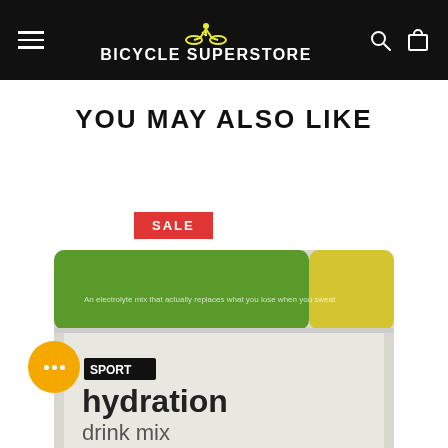BICYCLE SUPERSTORE
YOU MAY ALSO LIKE
[Figure (photo): Skratch Labs Sport Hydration Drink Mix lemon & lime product bag, green and yellow packaging, with a red SALE badge at top]
[Figure (other): Yellow circular chat button with three white dots in lower left corner]